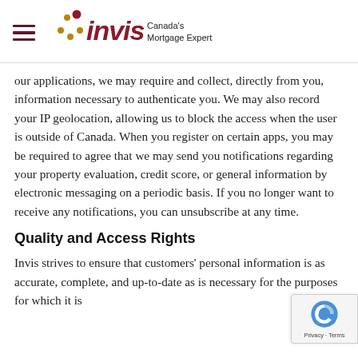[Figure (logo): Invis Canada's Mortgage Experts logo with hamburger menu icon on the left and dot pattern graphic]
our applications, we may require and collect, directly from you, information necessary to authenticate you. We may also record your IP geolocation, allowing us to block the access when the user is outside of Canada. When you register on certain apps, you may be required to agree that we may send you notifications regarding your property evaluation, credit score, or general information by electronic messaging on a periodic basis. If you no longer want to receive any notifications, you can unsubscribe at any time.
Quality and Access Rights
Invis strives to ensure that customers' personal information is as accurate, complete, and up-to-date as is necessary for the purposes for which it is